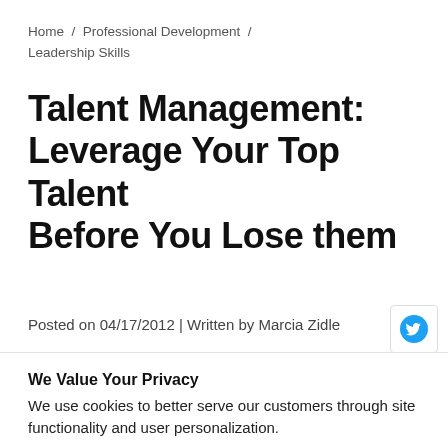Home / Professional Development / Leadership Skills
Talent Management: Leverage Your Top Talent Before You Lose them
Posted on 04/17/2012 | Written by Marcia Zidle
We Value Your Privacy
We use cookies to better serve our customers through site functionality and user personalization.